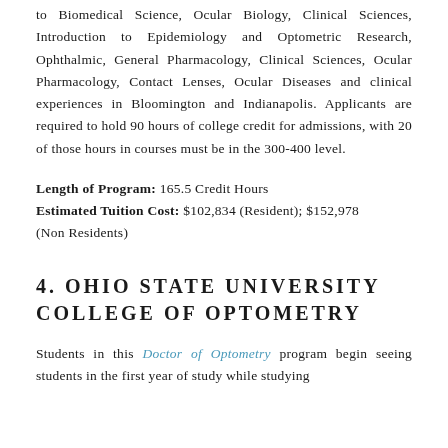to Biomedical Science, Ocular Biology, Clinical Sciences, Introduction to Epidemiology and Optometric Research, Ophthalmic, General Pharmacology, Clinical Sciences, Ocular Pharmacology, Contact Lenses, Ocular Diseases and clinical experiences in Bloomington and Indianapolis. Applicants are required to hold 90 hours of college credit for admissions, with 20 of those hours in courses must be in the 300-400 level.
Length of Program: 165.5 Credit Hours Estimated Tuition Cost: $102,834 (Resident); $152,978 (Non Residents)
4. OHIO STATE UNIVERSITY COLLEGE OF OPTOMETRY
Students in this Doctor of Optometry program begin seeing students in the first year of study while studying